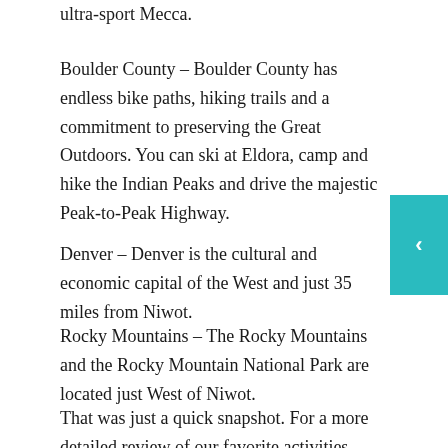ultra-sport Mecca.
Boulder County – Boulder County has endless bike paths, hiking trails and a commitment to preserving the Great Outdoors. You can ski at Eldora, camp and hike the Indian Peaks and drive the majestic Peak-to-Peak Highway.
Denver – Denver is the cultural and economic capital of the West and just 35 miles from Niwot.
Rocky Mountains – The Rocky Mountains and the Rocky Mountain National Park are located just West of Niwot.
That was just a quick snapshot. For a more detailed review of our favorite activities